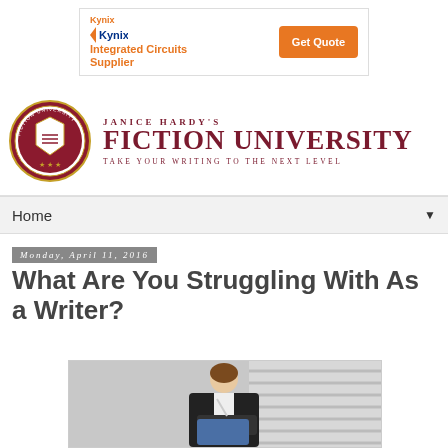[Figure (other): Kynix Integrated Circuits Supplier advertisement banner with orange Get Quote button]
[Figure (logo): Janice Hardy's Fiction University logo — circular badge seal on left, red serif text 'FICTION UNIVERSITY' and tagline 'TAKE YOUR WRITING TO THE NEXT LEVEL']
Home
Monday, April 11, 2016
What Are You Struggling With As a Writer?
[Figure (photo): Photo of a woman in a black blazer writing/holding a pen over a tablet or clipboard, with a blurred background]